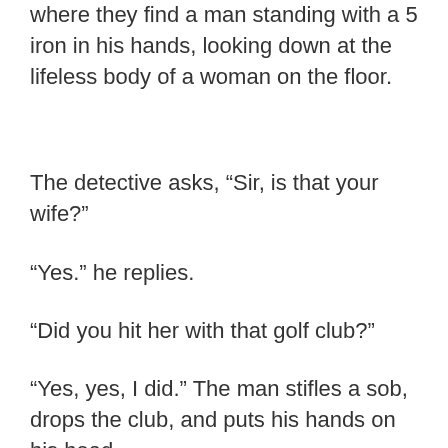where they find a man standing with a 5 iron in his hands, looking down at the lifeless body of a woman on the floor.
The detective asks, “Sir, is that your wife?”
“Yes.” he replies.
“Did you hit her with that golf club?”
“Yes, yes, I did.” The man stifles a sob, drops the club, and puts his hands on his head.
“How many times did you hit her?”